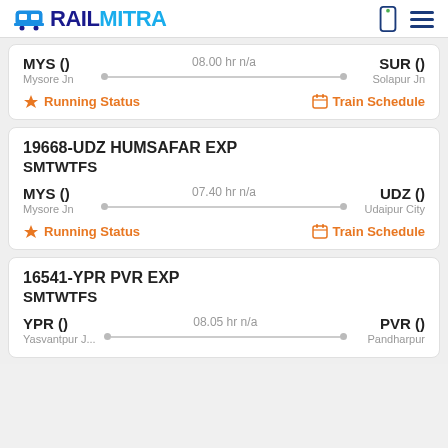RAILMITRA
MYS () 08.00 hr n/a SUR () Mysore Jn Solapur Jn
Running Status | Train Schedule
19668-UDZ HUMSAFAR EXP SMTWTFS
MYS () 07.40 hr n/a UDZ () Mysore Jn Udaipur City
Running Status | Train Schedule
16541-YPR PVR EXP SMTWTFS
YPR () 08.05 hr n/a PVR () Yasvantpur J... Pandharpur